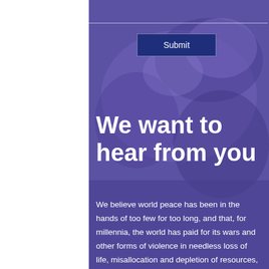[Figure (photo): Background image of hands clasped together with a purple/violet color overlay, partially visible behind white left panel]
Submit
We want to hear from you
We believe world peace has been in the hands of too few for too long, and that, for millennia, the world has paid for its wars and other forms of violence in needless loss of life, misallocation and depletion of resources, and failed opportunities to achieve peaceful coexistence.